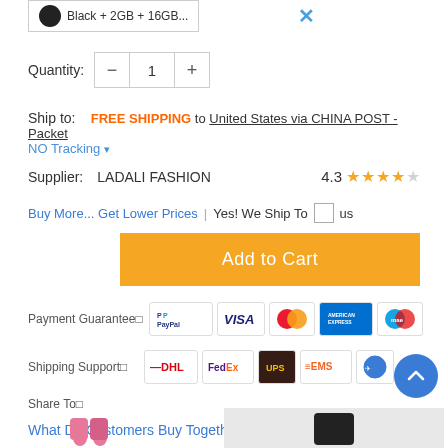[Figure (screenshot): Product variant selection box showing Black + 2GB + 16GB... with a close X button]
Quantity: - 1 +
Ship to: FREE SHIPPING to United States via CHINA POST - Packet NO Tracking ▾
Supplier: LADALI FASHION   4.3 ★★★★☆
Buy More... Get Lower Prices   Yes! We Ship To [] us
Add to Cart
Payment Guarantee□  [PayPal] [VISA] [MasterCard] [American Express] [Maestro]
Shipping Support□  [DHL] [FedEx] [UPS] [EMS] [other]
Share To□
What Do Customers Buy Together With This Item?